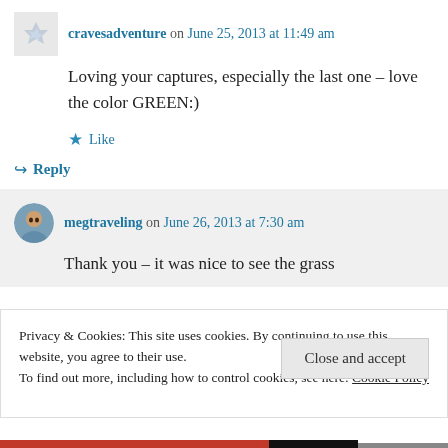cravesadventure on June 25, 2013 at 11:49 am
Loving your captures, especially the last one – love the color GREEN:)
Like
Reply
megtraveling on June 26, 2013 at 7:30 am
Thank you – it was nice to see the grass
Privacy & Cookies: This site uses cookies. By continuing to use this website, you agree to their use.
To find out more, including how to control cookies, see here: Cookie Policy
Close and accept